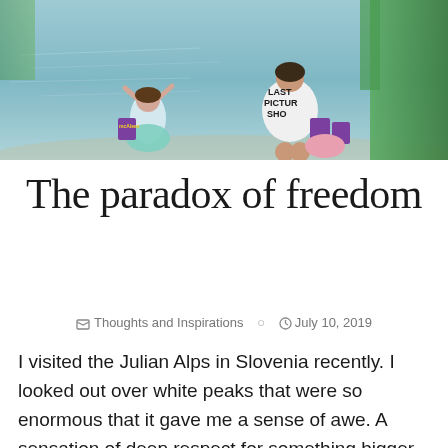[Figure (photo): Outdoor photo of two people sitting by a lake or river. One person wears a teal/mint skirt and raises arms, another person wears a white t-shirt with 'LAST PICTURE SHOW' text visible, holding/near purple shopping bags and a pink bag. Greenery in background.]
The paradox of freedom
📁 Thoughts and Inspirations  🕐 July 10, 2019
I visited the Julian Alps in Slovenia recently. I looked out over white peaks that were so enormous that it gave me a sense of awe. A sensation of deep respect for something bigger than myself. That my problems were very small compared to an infinite world. That moment grabbed me, a peaceful feeling took hold of me. I